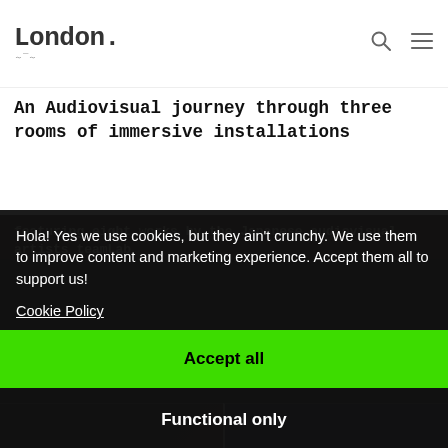London.
An Audiovisual journey through three rooms of immersive installations
featuring eight works by the Japanese audiovisual artists teamLab
Hola! Yes we use cookies, but they ain't crunchy. We use them to improve content and marketing experience. Accept them all to support us!
Cookie Policy
Accept all
Functional only
View preferences
[Figure (photo): Dark immersive installation image - left panel]
[Figure (photo): Dark immersive installation image - right panel]